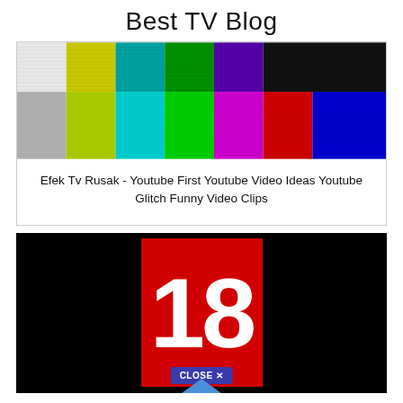Best TV Blog
[Figure (photo): TV color bars test pattern showing horizontal colored stripes including white, yellow, cyan, green, magenta, red, blue, and black bands]
Efek Tv Rusak - Youtube First Youtube Video Ideas Youtube Glitch Funny Video Clips
[Figure (screenshot): Black background with a red rectangle containing the number 18 in bold white text, and a blue CLOSE X button at the bottom with an upward-pointing arrow]